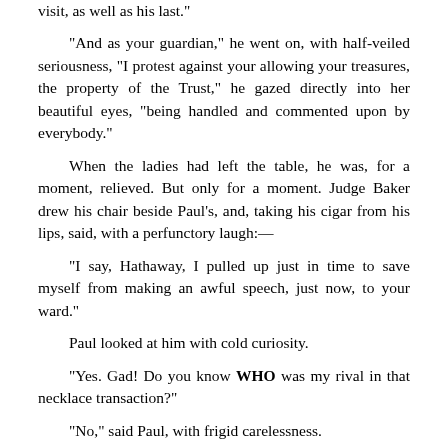visit, as well as his last."
"And as your guardian," he went on, with half-veiled seriousness, "I protest against your allowing your treasures, the property of the Trust," he gazed directly into her beautiful eyes, "being handled and commented upon by everybody."
When the ladies had left the table, he was, for a moment, relieved. But only for a moment. Judge Baker drew his chair beside Paul's, and, taking his cigar from his lips, said, with a perfunctory laugh:—
"I say, Hathaway, I pulled up just in time to save myself from making an awful speech, just now, to your ward."
Paul looked at him with cold curiosity.
"Yes. Gad! Do you know WHO was my rival in that necklace transaction?"
"No," said Paul, with frigid carelessness.
"Why, Kate Howard! Fact, sir. She bought it right under my nose,— and overbid me, too."